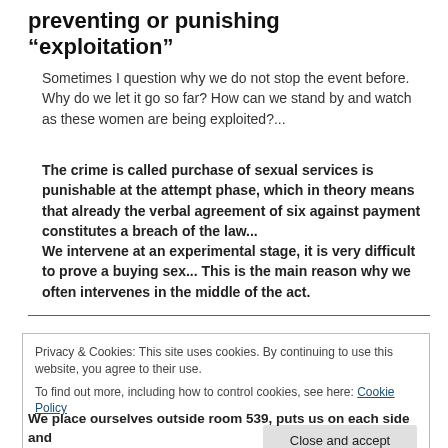preventing or punishing “exploitation”
Sometimes I question why we do not stop the event before. Why do we let it go so far? How can we stand by and watch as these women are being exploited?...
The crime is called purchase of sexual services is punishable at the attempt phase, which in theory means that already the verbal agreement of six against payment constitutes a breach of the law...
We intervene at an experimental stage, it is very difficult to prove a buying sex... This is the main reason why we often intervenes in the middle of the act.
Privacy & Cookies: This site uses cookies. By continuing to use this website, you agree to their use.
To find out more, including how to control cookies, see here: Cookie Policy
We place ourselves outside room 539, puts us on each side and